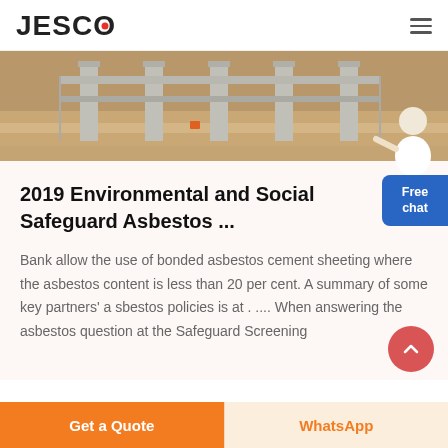JESCO
[Figure (photo): Construction site photo showing concrete pillars, scaffolding, and sandy ground]
2019 Environmental and Social Safeguard Asbestos ...
Bank allow the use of bonded asbestos cement sheeting where the asbestos content is less than 20 per cent. A summary of some key partners' a sbestos policies is at . .... When answering the asbestos question at the Safeguard Screening
Get a Quote | WhatsApp